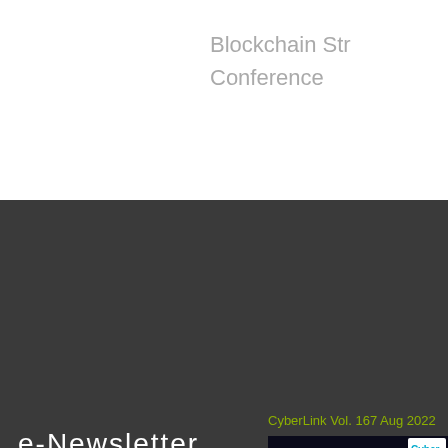Blockchain Stra Conference
e-Newsletter
Subscribe
CyberLink Vol. 167 Aug 2022
[Figure (photo): DELF 2022 event banner showing Beyond Reality & Virtuality with CyberLink logo]
DELF 2022 is Transcending Entertainment Beyond Reality and Virtuality